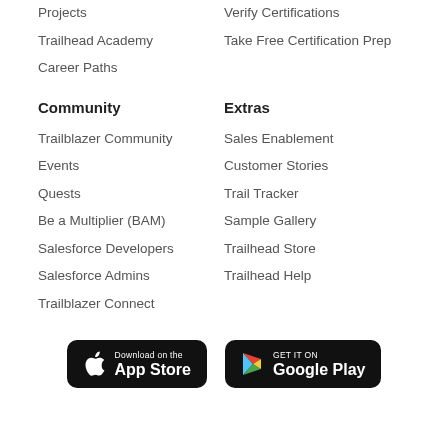Projects
Verify Certifications
Trailhead Academy
Take Free Certification Prep
Career Paths
Community
Extras
Trailblazer Community
Sales Enablement
Events
Customer Stories
Quests
Trail Tracker
Be a Multiplier (BAM)
Sample Gallery
Salesforce Developers
Trailhead Store
Salesforce Admins
Trailhead Help
Trailblazer Connect
[Figure (other): Download on the App Store button]
[Figure (other): Get it on Google Play button]